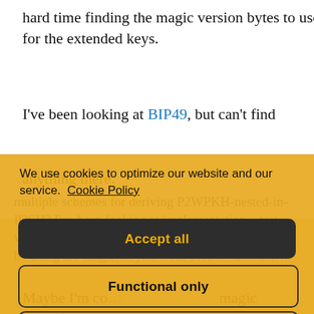hard time finding the magic version bytes to use for the extended keys.
I've been looking at BIP49, but can't find anything there.
We use cookies to optimize our website and our service. Cookie Policy
Accept all
Functional only
View preferences
multiple schemes for deriving P2WPKH-nested-in-P2SH? I've been looking at implementation…test vectors in BIP49, and I can't get the vectors to pass by using the magic…bytes from Trezor/Samoura…
Maybe I'm co… magic bytes from samourai correspond to